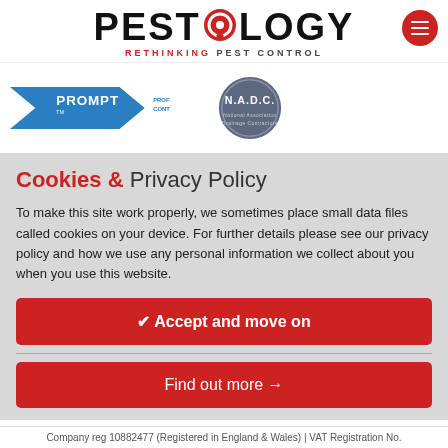[Figure (logo): Pestology logo with red circle speech bubble O icon and tagline RETHINKING PEST CONTROL, plus hamburger menu button]
[Figure (logo): PROMPT Professional Pest Controllers Register badge (blue chevron) and N.A.D.C. National Drainage Contractors circular seal]
Cookies & Privacy Policy
To make this site work properly, we sometimes place small data files called cookies on your device. For further details please see our privacy policy and how we use any personal information we collect about you when you use this website.
✔ Accept and move on
Find out more →
Company reg 10882477 (Registered in England & Wales) | VAT Registration No.